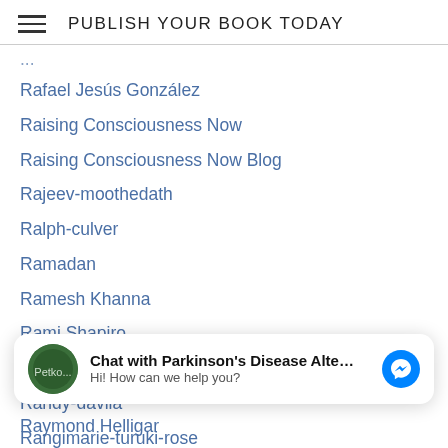PUBLISH YOUR BOOK TODAY
Rafael Jesús González
Raising Consciousness Now
Raising Consciousness Now Blog
Rajeev-moothedath
Ralph-culver
Ramadan
Ramesh Khanna
Rami Shapiro
Randi-cramer
Randy-davila
Rangimarie-turuki-rose
Rangimarie-turuki-rose-pere
Ranjana Sharan Sinha
[Figure (screenshot): Chat widget: avatar with green circle image, text 'Chat with Parkinson's Disease Alte...' bold, subtitle 'Hi! How can we help you?', blue Messenger icon button]
Raymond Helligar